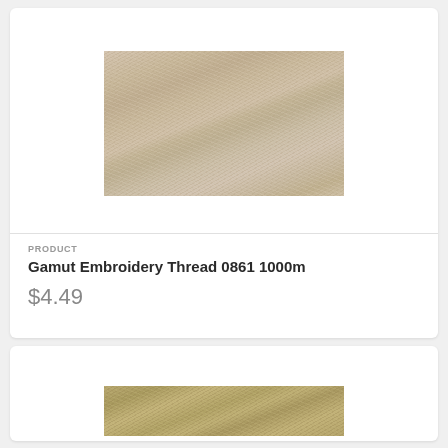[Figure (photo): Close-up photo of beige/tan embroidery thread spool showing the texture of wound thread]
PRODUCT
Gamut Embroidery Thread 0861 1000m
$4.49
[Figure (photo): Close-up photo of olive/gold embroidery thread spool showing the texture of wound thread (partially visible)]